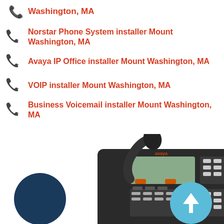Washington, MA
Norstar Phone System installer Mount Washington, MA
Avaya IP Office installer Mount Washington, MA
VOIP installer Mount Washington, MA
Business Voicemail installer Mount Washington, MA
[Figure (photo): Business phone (Avaya model) on white background with dark navy call button circle on left and light blue up-arrow circle on right]